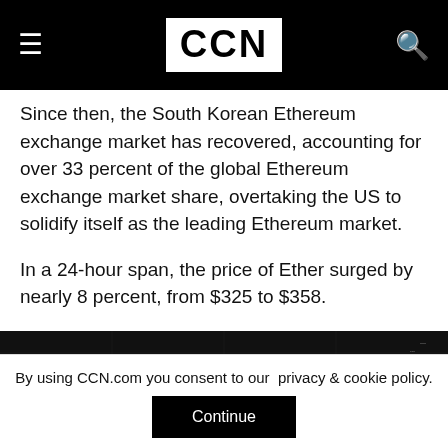CCN
Since then, the South Korean Ethereum exchange market has recovered, accounting for over 33 percent of the global Ethereum exchange market share, overtaking the US to solidify itself as the leading Ethereum market.
In a 24-hour span, the price of Ether surged by nearly 8 percent, from $325 to $358.
[Figure (screenshot): Dark background chart screenshot showing candlestick or price data with red markers on the right side]
By using CCN.com you consent to our privacy & cookie policy.
Continue